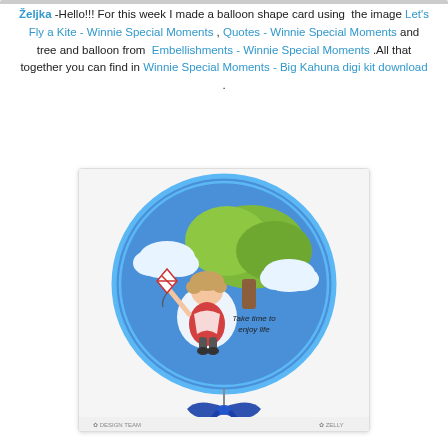Željka -Hello!!! For this week I made a balloon shape card using the image Let's Fly a Kite - Winnie Special Moments , Quotes - Winnie Special Moments and tree and balloon from Embellishments - Winnie Special Moments .All that together you can find in Winnie Special Moments - Big Kahuna digi kit download .
[Figure (photo): A handmade balloon-shaped card featuring a child character flying a kite, standing in front of a tree with clouds, on a blue oval background with a blue ribbon bow at the bottom. Text on card reads 'Take time to enjoy life'. Footer shows 'DESIGN TEAM' and 'ZELLY'.]